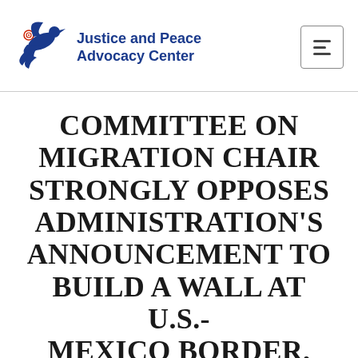Justice and Peace Advocacy Center
COMMITTEE ON MIGRATION CHAIR STRONGLY OPPOSES ADMINISTRATION'S ANNOUNCEMENT TO BUILD A WALL AT U.S.-MEXICO BORDER, INCREASE DETENTION